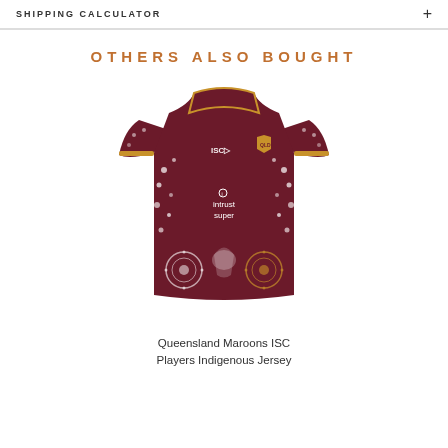SHIPPING CALCULATOR
OTHERS ALSO BOUGHT
[Figure (photo): Queensland Maroons ISC Players Indigenous Jersey — dark maroon rugby league jersey with indigenous dot art pattern in white and gold, ISC logo on chest, intrust super sponsor, QLD shield badge]
Queensland Maroons ISC Players Indigenous Jersey